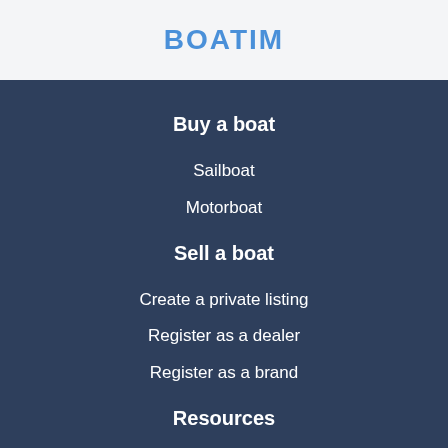BOATIM
Buy a boat
Sailboat
Motorboat
Sell a boat
Create a private listing
Register as a dealer
Register as a brand
Resources